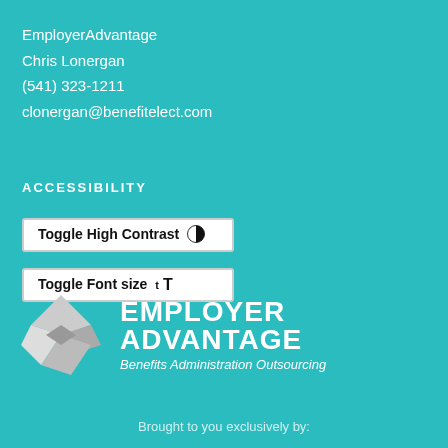EmployerAdvantage
Chris Lonergan
(541) 323-1211
clonergan@benefitelect.com
ACCESSIBILITY
Toggle High Contrast
Toggle Font size
[Figure (logo): EmployerAdvantage logo with diamond/arrow geometric icon and text 'Employer Advantage Benefits Administration Outsourcing']
Brought to you exclusively by: